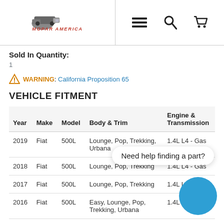Mopar America — logo with navigation icons (hamburger, search, cart)
Sold In Quantity:
1
WARNING: California Proposition 65
VEHICLE FITMENT
| Year | Make | Model | Body & Trim | Engine & Transmission |
| --- | --- | --- | --- | --- |
| 2019 | Fiat | 500L | Lounge, Pop, Trekking, Urbana | 1.4L L4 - Gas |
| 2018 | Fiat | 500L | Lounge, Pop, Trekking, | 1.4L L4 - Gas |
| 2017 | Fiat | 500L | Lounge, Pop, Trekking | 1.4L L4 - Gas |
| 2016 | Fiat | 500L | Easy, Lounge, Pop, Trekking, Urbana | 1.4L L4 - |
| 2015 | Fiat | 500L | Easy, Lounge, Pop, Trekking, Urbana | 1.4L L4 - Gas |
Need help finding a part?